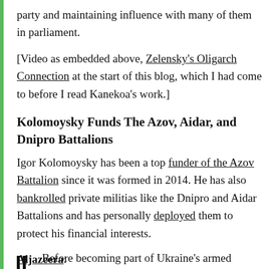party and maintaining influence with many of them in parliament.
[Video as embedded above, Zelensky's Oligarch Connection at the start of this blog, which I had come to before I read Kanekoa's work.]
Kolomoysky Funds The Azov, Aidar, and Dnipro Battalions
Igor Kolomoysky has been a top funder of the Azov Battalion since it was formed in 2014. He has also bankrolled private militias like the Dnipro and Aidar Battalions and has personally deployed them to protect his financial interests.
Aljazeera:
Before becoming part of Ukraine's armed